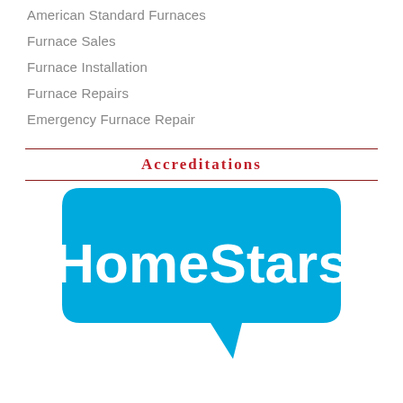American Standard Furnaces
Furnace Sales
Furnace Installation
Furnace Repairs
Emergency Furnace Repair
Accreditations
[Figure (logo): HomeStars logo — blue speech bubble shape with white bold text reading 'HomeStars']